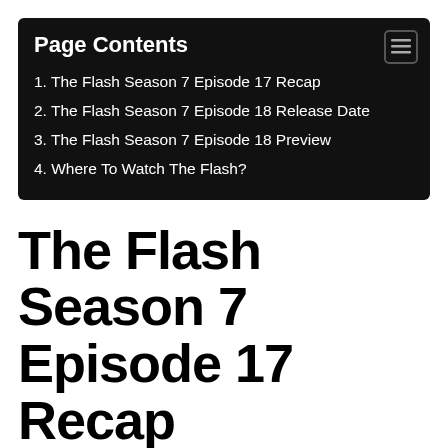Page Contents
1. The Flash Season 7 Episode 17 Recap
2. The Flash Season 7 Episode 18 Release Date
3. The Flash Season 7 Episode 18 Preview
4. Where To Watch The Flash?
The Flash Season 7 Episode 17 Recap
As the battle against the drones was getting tough, Barry attempts to contact Wally West. Nevertheless, Iris arrives, after which the couple decides to have Bart and Nora be benched in the fight against the drones. In the